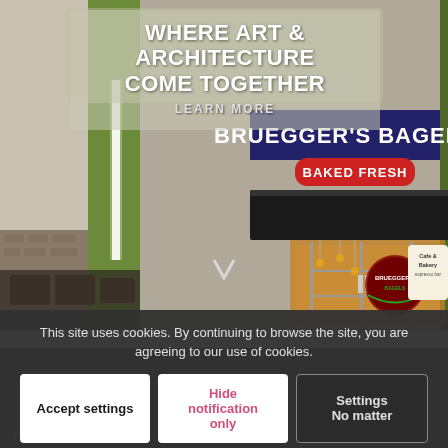[Figure (photo): Exterior photo of a Bruegger's Bagels restaurant storefront at night, showing illuminated signage reading 'BRUEGGER'S BAGELS' and 'BAKED FRESH', with glass entrance doors, green architectural columns, and interior visible through windows. A 'Cafe & Bakery espresso bar' sign is visible on the right.]
WHERE ART & ARCHITECTURE COME TOGETHER
LEARN MORE
OUR APPROACH
This site uses cookies. By continuing to browse the site, you are agreeing to our use of cookies.
Accept settings
Hide notification only
Settings
No matter